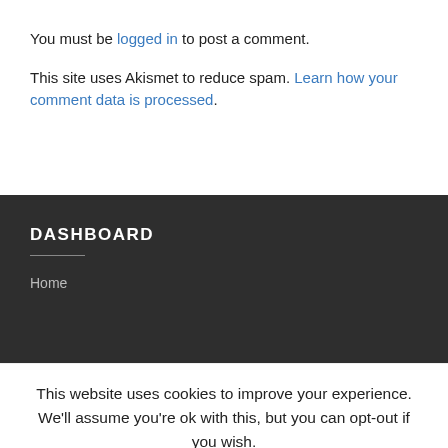You must be logged in to post a comment.
This site uses Akismet to reduce spam. Learn how your comment data is processed.
DASHBOARD
Home
This website uses cookies to improve your experience. We'll assume you're ok with this, but you can opt-out if you wish.
Accept  Read More